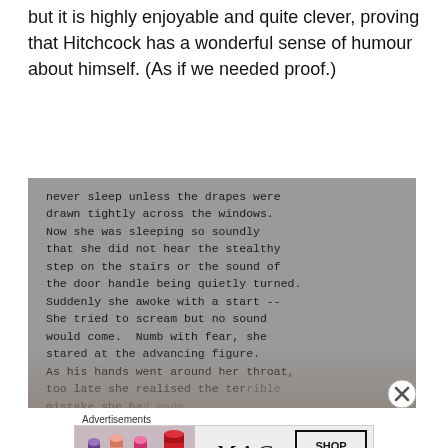but it is highly enjoyable and quite clever, proving that Hitchcock has a wonderful sense of humour about himself. (As if we needed proof.)
[Figure (photo): Black and white photograph of a typewritten page showing a suspenseful passage of text. A hand partially obscures the bottom of the page. The typed text reads: 'never sleep unless the drapes were drawn tightly across the windows. Now she was sleeping so soundly that she did not hear the stealthy step on the stairs or the sound of the door handle being quietly turned. Suddenly she awoke with a start -- She tried to scream but no sound would come. Numb with fear, she stared at the advancing figure. As his hands went around her throat, too late she realised the terrible mistake she had made.' A circular close (X) button appears in the lower right.]
Advertisements
[Figure (screenshot): MAC cosmetics advertisement banner showing colorful lipsticks on the left, a MAC logo in the center, and a 'SHOP NOW' button on the right.]